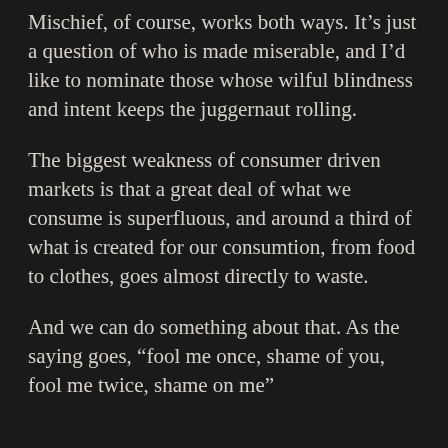Mischief, of course, works both ways. It's just a question of who is made miserable, and I'd like to nominate those whose wilful blindness and intent keeps the juggernaut rolling.
The biggest weakness of consumer driven markets is that a great deal of what we consume is superfluous, and around a third of what is created for our consumtion, from food to clothes, goes almost directly to waste.
And we can do something about that. As the saying goes, “fool me once, shame of you, fool me twice, shame on me”